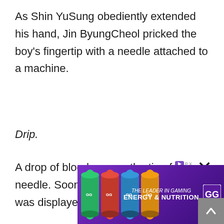As Shin YuSung obediently extended his hand, Jin ByungCheol pricked the boy's fingertip with a needle attached to a machine.
Drip.
A drop of blood was on the tip of the needle. Soon after, Shin YuSung's Trait was displayed on the screen.
[Rank: F]
[Trai